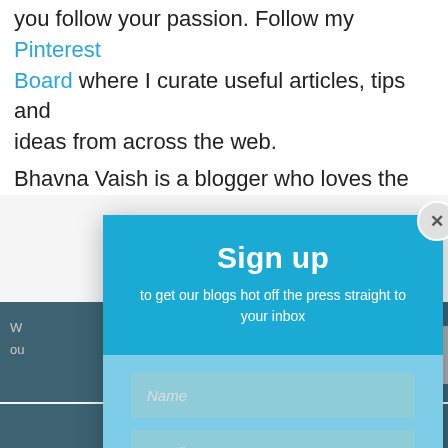you follow your passion. Follow my Pinterest Board where I curate useful articles, tips and ideas from across the web.
Bhavna Vaish is a blogger who loves the
[Figure (screenshot): Sign up modal dialog with blue header, light blue form area containing Name and Email fields, and orange SUBSCRIBE! button]
Share This
Share This  ×